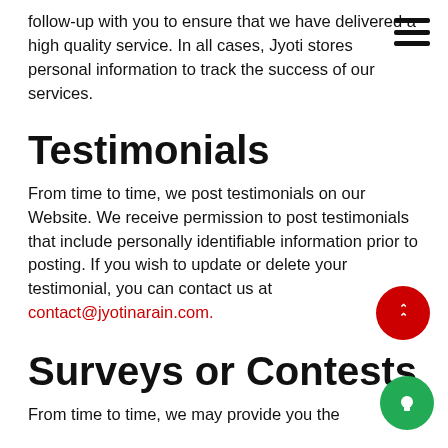hamburger menu icon
follow-up with you to ensure that we have delivered a high quality service. In all cases, Jyoti stores personal information to track the success of our services.
Testimonials
From time to time, we post testimonials on our Website. We receive permission to post testimonials that include personally identifiable information prior to posting. If you wish to update or delete your testimonial, you can contact us at contact@jyotinarain.com.
Surveys or Contests
From time to time, we may provide you the